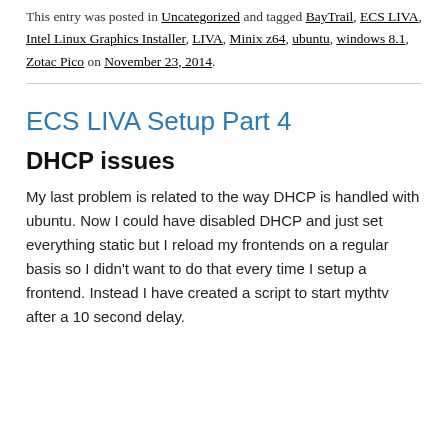This entry was posted in Uncategorized and tagged BayTrail, ECS LIVA, Intel Linux Graphics Installer, LIVA, Minix z64, ubuntu, windows 8.1, Zotac Pico on November 23, 2014.
ECS LIVA Setup Part 4
DHCP issues
My last problem is related to the way DHCP is handled with ubuntu. Now I could have disabled DHCP and just set everything static but I reload my frontends on a regular basis so I didn't want to do that every time I setup a frontend. Instead I have created a script to start mythtv after a 10 second delay.